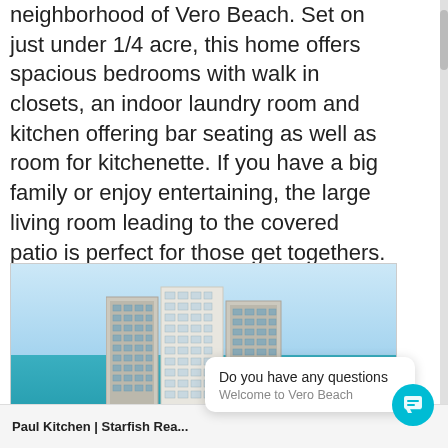neighborhood of Vero Beach. Set on just under 1/4 acre, this home offers spacious bedrooms with walk in closets, an indoor laundry room and kitchen offering bar seating as well as room for kitchenette. If you have a big family or enjoy entertaining, the large living room leading to the covered patio is perfect for those get togethers. Lots of potential to make this home your own! Schedule your showing today! Visit http://www.livinginvero.com/ for more info...
[Figure (photo): Exterior photo of high-rise condominium buildings near the ocean, blue sky and turquoise water visible in background.]
Paul Kitchen | Starfish Rea...
Do you have any questions
Welcome to Vero Beach